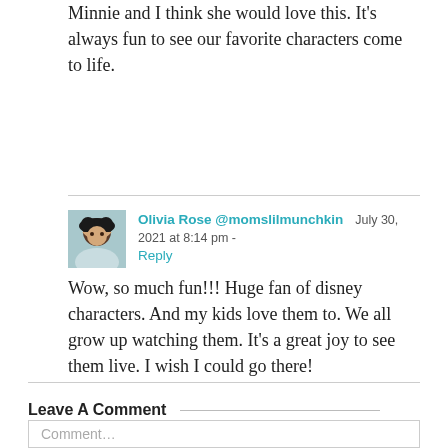Minnie and I think she would love this. It's always fun to see our favorite characters come to life.
Olivia Rose @momslilmunchkin  July 30, 2021 at 8:14 pm -
Reply

Wow, so much fun!!! Huge fan of disney characters. And my kids love them to. We all grow up watching them. It's a great joy to see them live. I wish I could go there!
Leave A Comment
Comment...